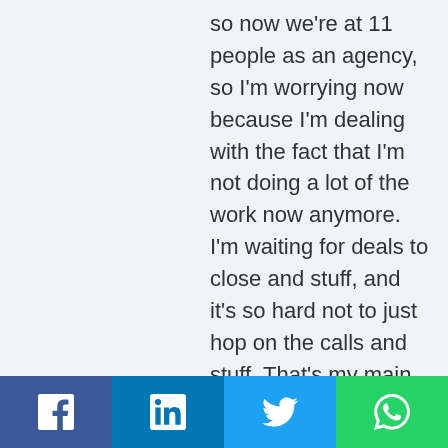so now we're at 11 people as an agency, so I'm worrying now because I'm dealing with the fact that I'm not doing a lot of the work now anymore. I'm waiting for deals to close and stuff, and it's so hard not to just hop on the calls and stuff. That's my main thing that I'm focusing on right
Social share bar: Facebook, LinkedIn, Twitter, WhatsApp